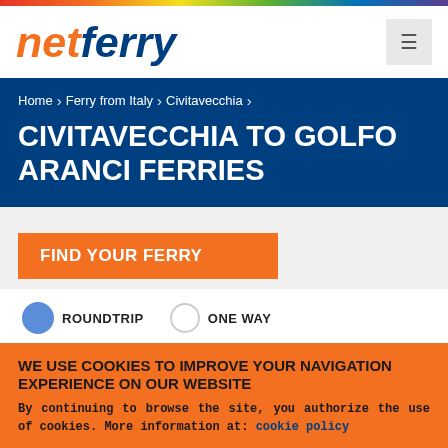[Figure (logo): netferry logo — 'net' in orange italic, 'ferry' in dark blue italic]
Home › Ferry from Italy › Civitavecchia ›
CIVITAVECCHIA TO GOLFO ARANCI FERRIES
FIND YOUR FERRY
ROUNDTRIP   ONE WAY
NAVIGATION ROUTE
WE USE COOKIES TO IMPROVE YOUR NAVIGATION EXPERIENCE ON OUR WEBSITE
By continuing to browse the site, you authorize the use of cookies. More information at: cookie policy